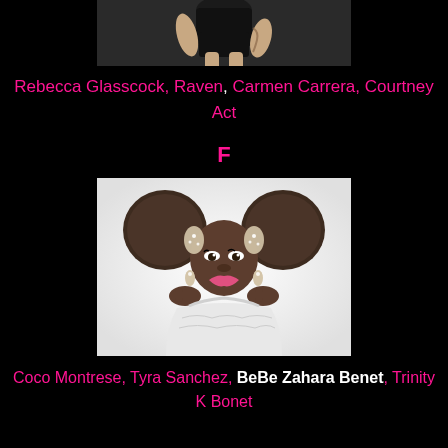[Figure (photo): Partial photo of a person in black outfit, cropped at top of page]
Rebecca Glasscock, Raven, Carmen Carrera, Courtney Act
F
[Figure (photo): Portrait photo of BeBe Zahara Benet in white lace outfit with large afro puff hairstyle and rhinestone accessories]
Coco Montrese, Tyra Sanchez, BeBe Zahara Benet, Trinity K Bonet